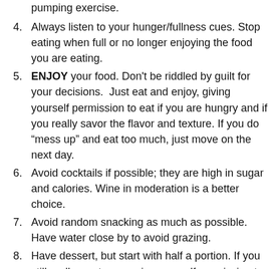pumping exercise.
4. Always listen to your hunger/fullness cues. Stop eating when full or no longer enjoying the food you are eating.
5. ENJOY your food. Don't be riddled by guilt for your decisions.  Just eat and enjoy, giving yourself permission to eat if you are hungry and if you really savor the flavor and texture. If you do “mess up” and eat too much, just move on the next day.
6. Avoid cocktails if possible; they are high in sugar and calories. Wine in moderation is a better choice.
7. Avoid random snacking as much as possible. Have water close by to avoid grazing.
8. Have dessert, but start with half a portion. If you still really want more, give yourself permission to do so. Oftentimes a small